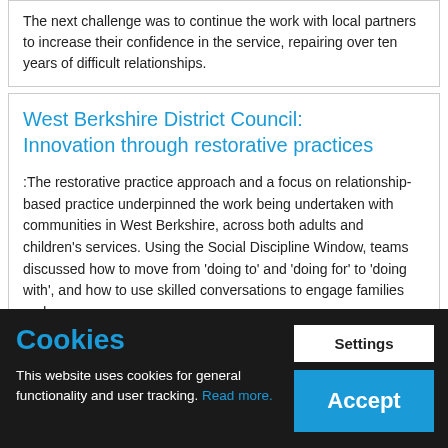The next challenge was to continue the work with local partners to increase their confidence in the service, repairing over ten years of difficult relationships.
West Berkshire District Council: Innovation through restorative practices
:The restorative practice approach and a focus on relationship-based practice underpinned the work being undertaken with communities in West Berkshire, across both adults and children's services. Using the Social Discipline Window, teams discussed how to move from 'doing to' and 'doing for' to 'doing with', and how to use skilled conversations to engage families and
Cookies
This website uses cookies for general functionality and user tracking. Read more.